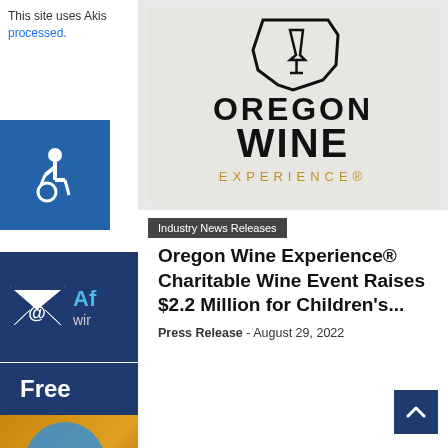This site uses Akis processed.
[Figure (logo): Wheelchair accessibility icon button (blue background)]
[Figure (logo): Email icon widget with 'Af' text and 'wir' subtitle on dark blue background]
Free
[Figure (photo): Photo of golden brewing tanks]
[Figure (logo): Oregon Wine Experience logo on light gray background — shows Oregon state outline with wine glass, text: OREGON WINE EXPERIENCE]
Industry News Releases
Oregon Wine Experience® Charitable Wine Event Raises $2.2 Million for Children's...
Press Release - August 29, 2022